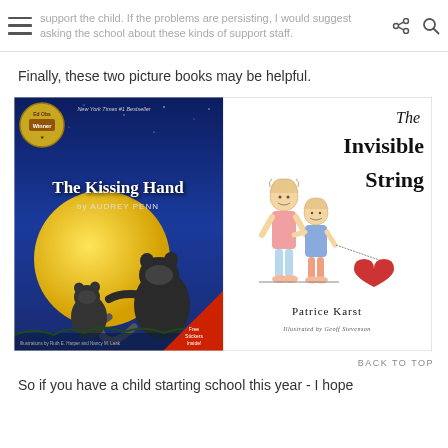support the child. If the problems are persisting, I would suggest asking the school about these kinds of support staff.
Finally, these two picture books may be helpful.
[Figure (photo): Two children's book covers side by side: 'The Kissing Hand by Audrey Penn' (illustrated by Ruth E. Harper and Nancy M. Leak, New York Times #1 Bestseller, Ed Obs Winner) showing raccoons in a night scene with yellow moon; and 'The Invisible String by Patrice Karst' (Illustrated by Geoff Stevenson) showing two children and a red heart.]
BACK TO TOP
So if you have a child starting school this year - I hope